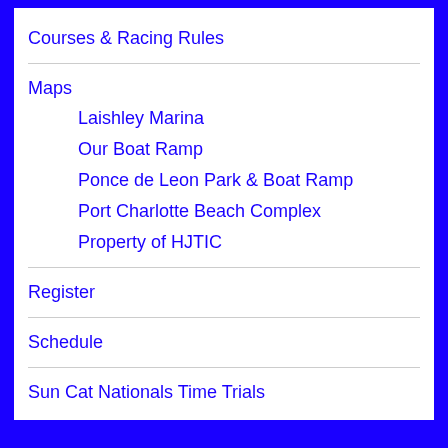Courses & Racing Rules
Maps
Laishley Marina
Our Boat Ramp
Ponce de Leon Park & Boat Ramp
Port Charlotte Beach Complex
Property of HJTIC
Register
Schedule
Sun Cat Nationals Time Trials